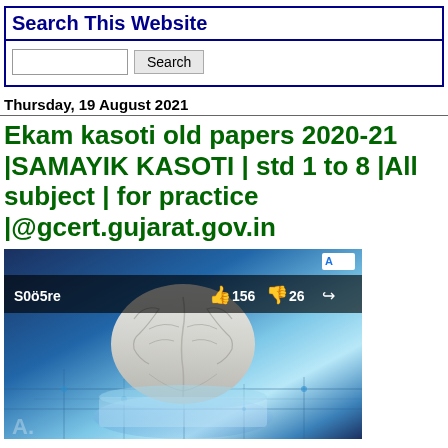Search This Website
Search (input + button)
Thursday, 19 August 2021
Ekam kasoti old papers 2020-21 |SAMAYIK KASOTI | std 1 to 8 |All subject | for practice |@gcert.gujarat.gov.in
[Figure (screenshot): YouTube video thumbnail showing a 3D brain on a circuit board background, with a dark overlay bar showing score text 'S0ö5re', thumbs up icon with 156 likes, thumbs down icon with 26 dislikes, and a share icon. An 'A' ad icon is in the top right corner.]